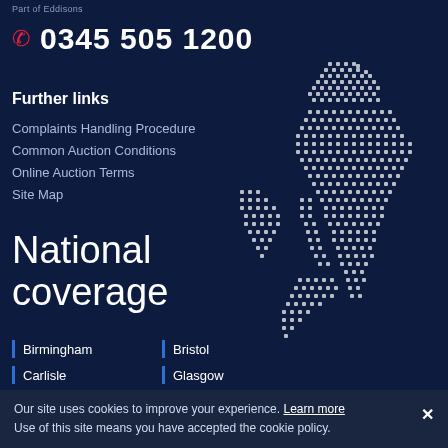Part of Eddisons
0345 505 1200
Further links
Complaints Handling Procedure
Common Auction Conditions
Online Auction Terms
Site Map
National coverage
[Figure (map): Dotted outline map of the United Kingdom in white on dark navy background]
Birmingham
Bristol
Carlisle
Glasgow
Leeds
Liverpool
London
Manchester
Newcastle
Nottingham
Sheffield
Our site uses cookies to improve your experience. Learn more
Use of this site means you have accepted the cookie policy.